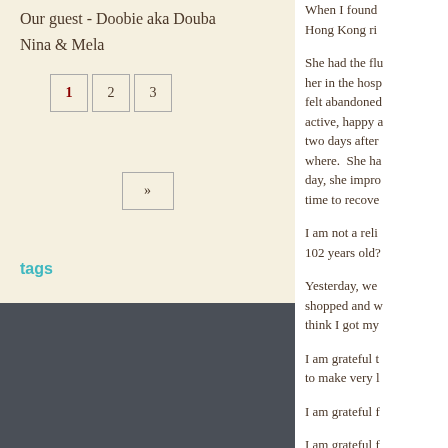Our guest - Doobie aka Douba
Nina & Mela
1 2 3 (pagination)
»
tags
When I found Hong Kong ri
She had the flu her in the hosp felt abandoned active, happy a two days after where. She ha day, she impro time to recove
I am not a reli 102 years old?
Yesterday, we shopped and w think I got my
I am grateful t to make very l
I am grateful f
I am grateful f